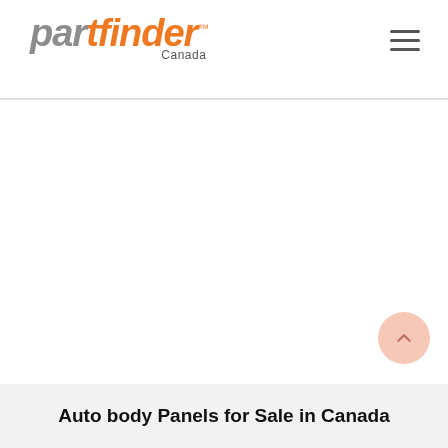partfinder™ Canada — navigation header with hamburger menu
Auto body Panels for Sale in Canada